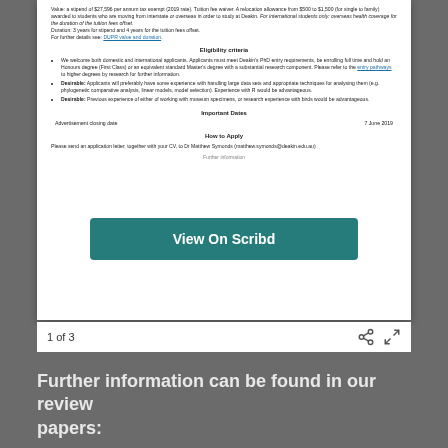Value: a stipend of $27,596 per annum tax exempt (2019 rate). Tuition fee waiver. A relocation allowance from $500 to $1,500 (for single to family) awarded to students who are moving from interstate or overseas in order to study at Deakin. For international students only: overseas health coverage for the duration of the tuition fees offset. Duration: 3 years for stipend and 4 years for the tuition fees offset. For further details see: DUPR value and duration.
Eligibility criteria
We welcome both domestic and international applicants. Applicants must meet Deakin's PhD entry requirements, be enrolling full time and hold an Honours degree (First Class) or an equivalent standard Master's degree with a substantial research component. Please refer to the entry pathways to higher degrees by research for further information.
Desirable: Applicants will preferably have some experience with handling large data sets and appropriate techniques for analysing them (e.g. phylogenetic comparative analysis, linear models, model selection). Experience with R would be advantageous.
Desirable: Previous experience of either of working with museum specimens, or research experience with birds would be advantageous.
Important Dates
Advertisement closing date
7 June 2019
How to Apply
Please send an application letter, together with your CV, to Dr Matthew Symonds (matthew.symonds@deakin.edu.au)
Further information
[Figure (screenshot): Scribd overlay button saying 'View On Scribd' in teal/dark cyan color]
1 of 3
Further information can be found in our review papers: